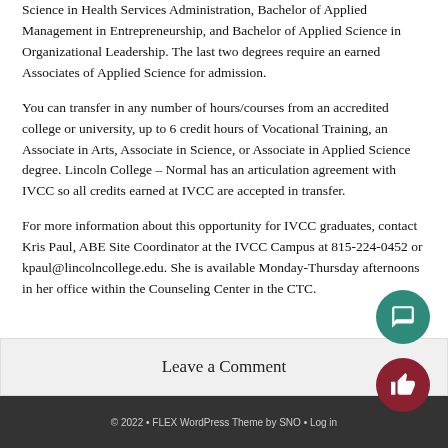Science in Health Services Administration, Bachelor of Applied Management in Entrepreneurship, and Bachelor of Applied Science in Organizational Leadership. The last two degrees require an earned Associates of Applied Science for admission.
You can transfer in any number of hours/courses from an accredited college or university, up to 6 credit hours of Vocational Training, an Associate in Arts, Associate in Science, or Associate in Applied Science degree. Lincoln College – Normal has an articulation agreement with IVCC so all credits earned at IVCC are accepted in transfer.
For more information about this opportunity for IVCC graduates, contact Kris Paul, ABE Site Coordinator at the IVCC Campus at 815-224-0452 or kpaul@lincolncollege.edu. She is available Monday-Thursday afternoons in her office within the Counseling Center in the CTC.
Leave a Comment
© 2022 • FLEX WordPress Theme by SNO • Log in